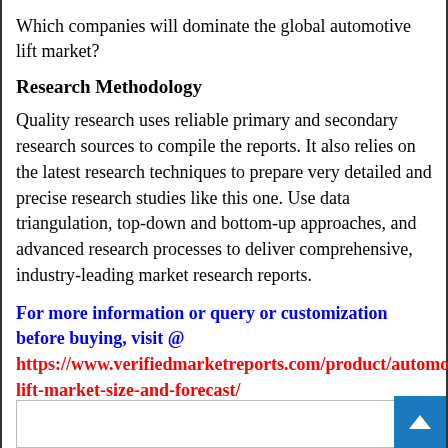Which companies will dominate the global automotive lift market?
Research Methodology
Quality research uses reliable primary and secondary research sources to compile the reports. It also relies on the latest research techniques to prepare very detailed and precise research studies like this one. Use data triangulation, top-down and bottom-up approaches, and advanced research processes to deliver comprehensive, industry-leading market research reports.
For more information or query or customization before buying, visit @ https://www.verifiedmarketreports.com/product/automotive-lift-market-size-and-forecast/